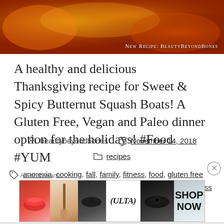[Figure (photo): Hero image of Sweet & Spicy Butternut Squash Boats with warm orange/amber tones. Text overlay reads 'New Recipe: BeautyBeyondBones' in small-caps white font at bottom right.]
A healthy and delicious Thanksgiving recipe for Sweet & Spicy Butternut Squash Boats! A Gluten Free, Vegan and Paleo dinner option for the holidays! #Food #YUM
beautybeyondbones   November 14, 2018
recipes
anorexia, cooking, fall, family, fitness, food, gluten free, health, life, paleo, recipe, thanksgiving, vegan, wellness
[Figure (screenshot): Advertisements banner showing Ulta Beauty advertisement with makeup images (lips, brush, eye makeup, model), Ulta logo, and SHOP NOW text.]